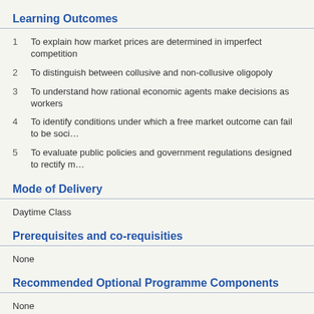Learning Outcomes
1  To explain how market prices are determined in imperfect competition
2  To distinguish between collusive and non-collusive oligopoly
3  To understand how rational economic agents make decisions as workers
4  To identify conditions under which a free market outcome can fail to be soci...
5  To evaluate public policies and government regulations designed to rectify m...
Mode of Delivery
Daytime Class
Prerequisites and co-requisities
None
Recommended Optional Programme Components
None